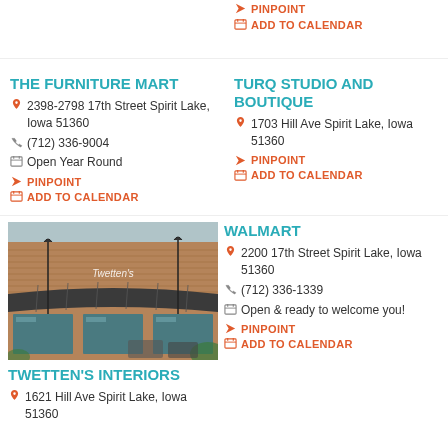PINPOINT
ADD TO CALENDAR
THE FURNITURE MART
2398-2798 17th Street Spirit Lake, Iowa 51360
(712) 336-9004
Open Year Round
PINPOINT
ADD TO CALENDAR
TURQ STUDIO AND BOUTIQUE
1703 Hill Ave Spirit Lake, Iowa 51360
PINPOINT
ADD TO CALENDAR
[Figure (photo): Exterior storefront of Twetten's Interiors, a brick building with a dark awning and signage]
TWETTEN'S INTERIORS
1621 Hill Ave Spirit Lake, Iowa 51360
WALMART
2200 17th Street Spirit Lake, Iowa 51360
(712) 336-1339
Open & ready to welcome you!
PINPOINT
ADD TO CALENDAR